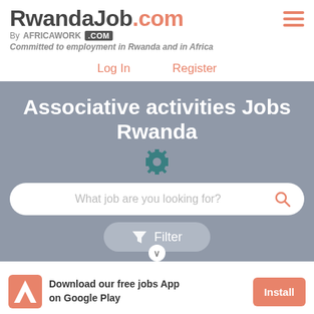[Figure (logo): RwandaJob.com logo with hamburger menu icon]
By AFRICAWORK .COM
Committed to employment in Rwanda and in Africa
Log In    Register
Associative activities Jobs Rwanda
[Figure (screenshot): Search bar with placeholder text 'What job are you looking for?' and search icon]
[Figure (screenshot): Filter button with funnel icon and chevron]
Download our free jobs App on Google Play
Install